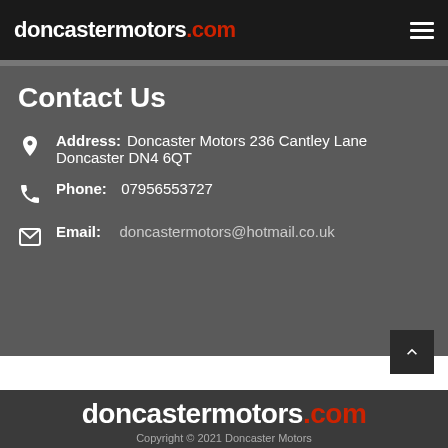doncastermotors.com
Contact Us
Address: Doncaster Motors 236 Cantley Lane Doncaster DN4 6QT
Phone: 07956553727
Email: doncastermotors@hotmail.co.uk
doncastermotors.com Copyright © 2021 Doncaster Motors